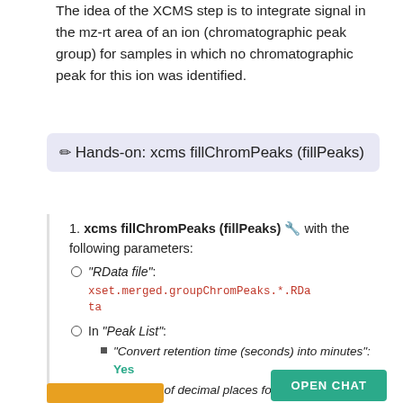The idea of the XCMS step is to integrate signal in the mz-rt area of an ion (chromatographic peak group) for samples in which no chromatographic peak for this ion was identified.
✏ Hands-on: xcms fillChromPeaks (fillPeaks)
xcms fillChromPeaks (fillPeaks) 🔧 with the following parameters:
"RData file": xset.merged.groupChromPeaks.*.RData
In "Peak List":
"Convert retention time (seconds) into minutes": Yes
"Number of decimal places for retention time values reported in ions' identifiers.":